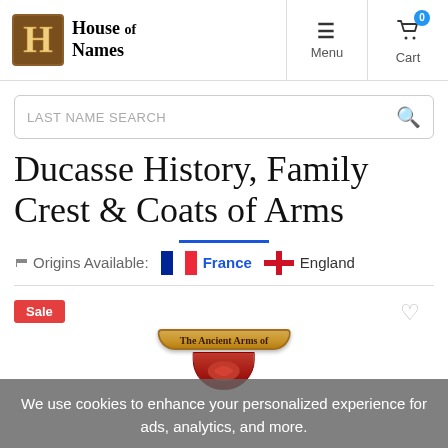House of Names | Menu | Cart
LAST NAME SEARCH
Ducasse History, Family Crest & Coats of Arms
Origins Available: France   England
[Figure (screenshot): Partial coat of arms image with 'The Ancient Arms of' banner, Sale badge, and heart icon at bottom of page]
We use cookies to enhance your personalized experience for ads, analytics, and more.